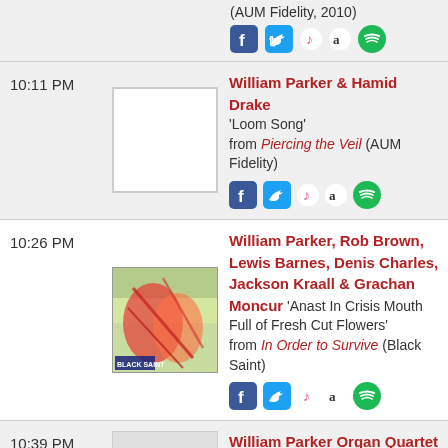(AUM Fidelity, 2010)
[Figure (other): Social media icons: Facebook, Twitter, iTunes, Amazon, Spotify]
10:11 PM
[Figure (other): Album art placeholder (white/blank)]
William Parker & Hamid Drake 'Loom Song' from Piercing the Veil (AUM Fidelity)
[Figure (other): Social media icons: Facebook, Twitter, iTunes, Amazon, Spotify]
10:26 PM
[Figure (other): Album art for In Order to Survive - colorful artwork]
William Parker, Rob Brown, Lewis Barnes, Denis Charles, Jackson Kraall & Grachan Moncur 'Anast In Crisis Mouth Full of Fresh Cut Flowers' from In Order to Survive (Black Saint)
[Figure (other): Social media icons: Facebook, Twitter, iTunes, Amazon, Spotify]
10:39 PM
[Figure (other): Album art placeholder with speaker/audio icon]
William Parker Organ Quartet 'Ennio's Tag' from Uncle Joe's Spirit House (Centering)